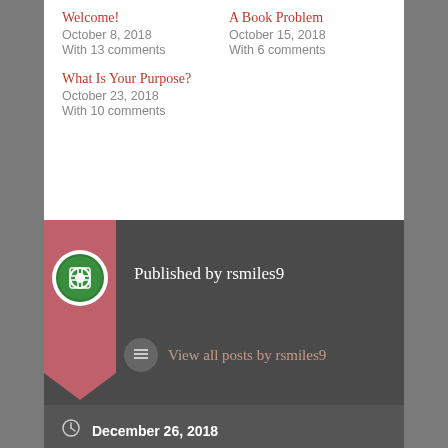Welcome!
October 8, 2018
With 13 comments
A Book Problem
October 15, 2018
With 6 comments
What Is Your Purpose?
October 23, 2018
With 10 comments
Published by rsmiles9
View all posts by rsmiles9
December 26, 2018
Uncategorized